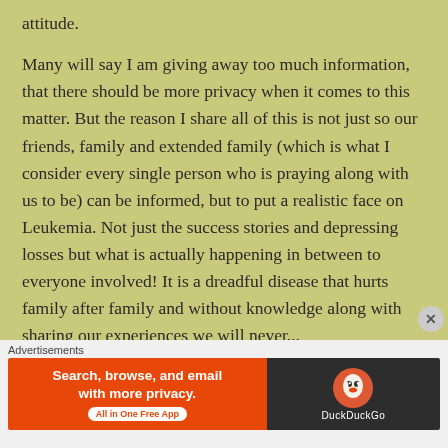attitude.
Many will say I am giving away too much information, that there should be more privacy when it comes to this matter. But the reason I share all of this is not just so our friends, family and extended family (which is what I consider every single person who is praying along with us to be) can be informed, but to put a realistic face on Leukemia. Not just the success stories and depressing losses but what is actually happening in between to everyone involved! It is a dreadful disease that hurts family after family and without knowledge along with sharing our experiences we will never...
[Figure (screenshot): DuckDuckGo advertisement banner: orange left side with 'Search, browse, and email with more privacy. All in One Free App' text, dark right side with DuckDuckGo duck logo and brand name.]